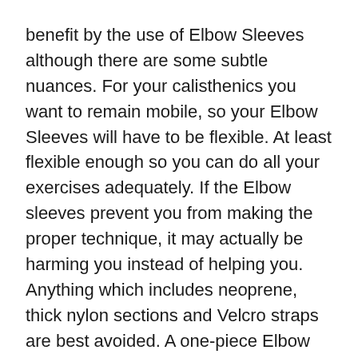benefit by the use of Elbow Sleeves although there are some subtle nuances. For your calisthenics you want to remain mobile, so your Elbow Sleeves will have to be flexible. At least flexible enough so you can do all your exercises adequately. If the Elbow sleeves prevent you from making the proper technique, it may actually be harming you instead of helping you. Anything which includes neoprene, thick nylon sections and Velcro straps are best avoided. A one-piece Elbow Compression Sleeve, also called an Arm Sleeve, like the Gornation Arm Sleeve, is your best option.
For weightlifters, you want to provide good fixation of your muscles to help prevent putting